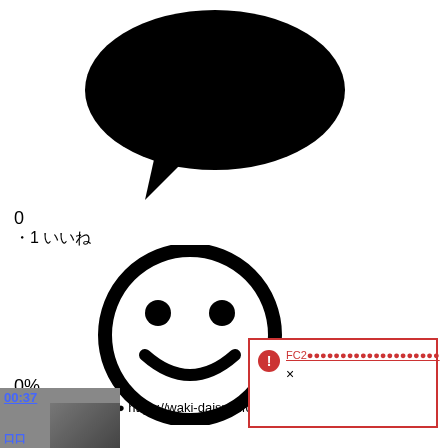[Figure (illustration): Black speech bubble icon pointing down-left]
0
・1 いいね
[Figure (illustration): Black smiley face icon - circle outline with eyes and smile]
0%
○(●●●●●)●●●●●●● https://waki-daisuki.fc2.n●
[Figure (screenshot): Video thumbnail with timestamp 00:37 and partial image]
FC2●●●●●●●●●●●●●●●●●●●●